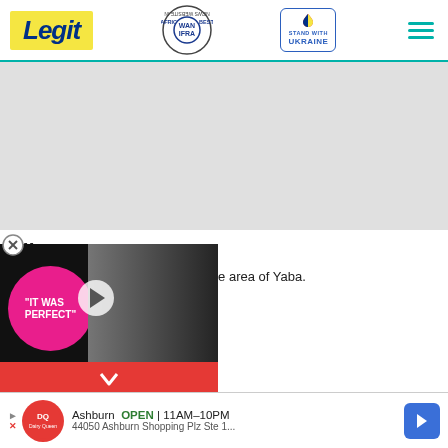Legit — Best News Website in Africa 2021 WAN IFRA — Stand With Ukraine
[Figure (screenshot): Grey advertisement placeholder area]
ollapse
it.ng reported that a building in Onike area of Yaba.
t of the building
[Figure (screenshot): Video overlay showing two people at an event with pink circle text IT WAS PERFECT and a play button]
[Figure (screenshot): Bottom advertisement: Dairy Queen Ashburn OPEN 11AM-10PM 44050 Ashburn Shopping Plz Ste 1...]